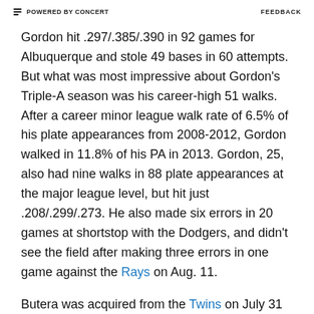POWERED BY CONCERT   FEEDBACK
Gordon hit .297/.385/.390 in 92 games for Albuquerque and stole 49 bases in 60 attempts. But what was most impressive about Gordon's Triple-A season was his career-high 51 walks. After a career minor league walk rate of 6.5% of his plate appearances from 2008-2012, Gordon walked in 11.8% of his PA in 2013. Gordon, 25, also had nine walks in 88 plate appearances at the major league level, but hit just .208/.299/.273. He also made six errors in 20 games at shortstop with the Dodgers, and didn't see the field after making three errors in one game against the Rays on Aug. 11.
Butera was acquired from the Twins on July 31 for a player who was later named as 19-year-old Class-A Great Lakes pitcher Miguel Sulbaran. Butera, who turned 30 on Aug. 9, was 7-for-52 (.135) in 16 games